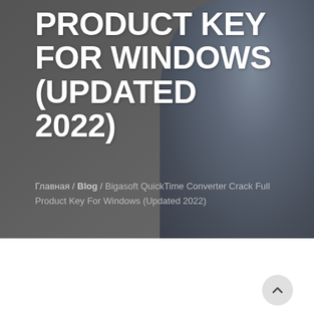[Figure (photo): Dark grey background with a blurred person wearing dark clothing on the right side, serving as a hero banner image]
PRODUCT KEY FOR WINDOWS (UPDATED 2022)
Главная / Blog / Bigasoft QuickTime Converter Crack Full Product Key For Windows (Updated 2022)